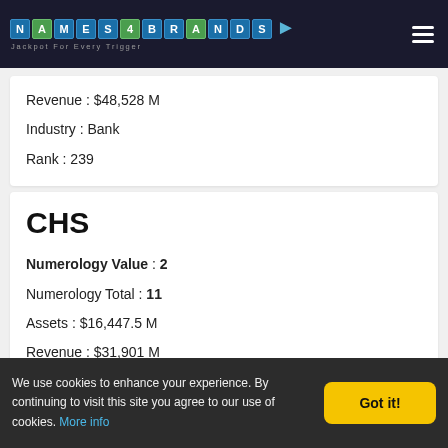NAMES4BRANDS — Jackpot For Every Trigger
Revenue : $48,528 M
Industry : Bank
Rank : 239
CHS
Numerology Value : 2
Numerology Total : 11
Assets : $16,447.5 M
Revenue : $31,901 M
Industry : food and agriculture
Rank : 394
We use cookies to enhance your experience. By continuing to visit this site you agree to our use of cookies. More info